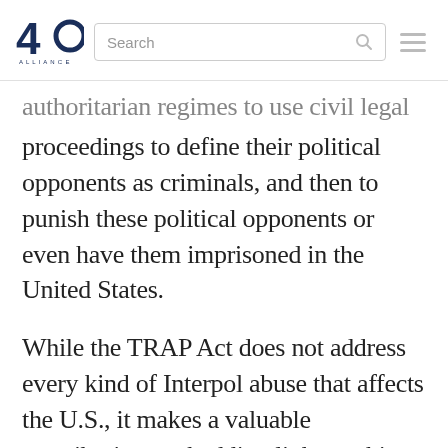[Figure (logo): 40 logo with circular icon and tagline, search bar, and hamburger menu navigation]
authoritarian regimes to use civil legal proceedings to define their political opponents as criminals, and then to punish these political opponents or even have them imprisoned in the United States.
While the TRAP Act does not address every kind of Interpol abuse that affects the U.S., it makes a valuable contribution to shedding light on this abuse. It also requires the U.S. to adopt processes to strengthen accountability and transparency within Interpol, thus limiting abuse at its source. Its introduction is